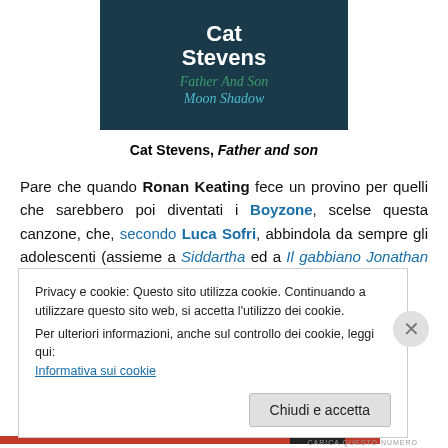[Figure (photo): Album cover for Cat Stevens 'Father And Son / Moon Shadow' — dark teal/navy background with white bold text 'Cat Stevens', green italic 'Father And Son', and teal italic 'Moon Shadow']
Cat Stevens, Father and son
Pare che quando Ronan Keating fece un provino per quelli che sarebbero poi diventati i Boyzone, scelse questa canzone, che, secondo Luca Sofri, abbindola da sempre gli adolescenti (assieme a Siddartha ed a Il gabbiano Jonathan Livingstone):
Privacy e cookie: Questo sito utilizza cookie. Continuando a utilizzare questo sito web, si accetta l'utilizzo dei cookie.
Per ulteriori informazioni, anche sul controllo dei cookie, leggi qui:
Informativa sui cookie
Chiudi e accetta